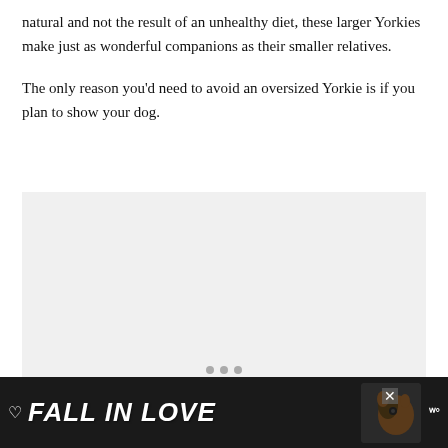natural and not the result of an unhealthy diet, these larger Yorkies make just as wonderful companions as their smaller relatives.
The only reason you'd need to avoid an oversized Yorkie is if you plan to show your dog.
[Figure (other): A light gray placeholder advertisement area for an image]
[Figure (screenshot): A dark advertisement banner reading 'FALL IN LOVE' with a heart icon, dog image, close button, and Tidal logo on black background]